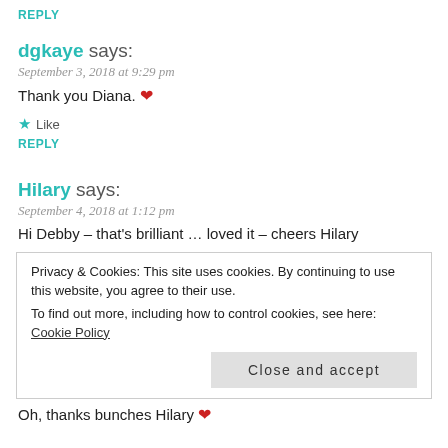REPLY
dgkaye says:
September 3, 2018 at 9:29 pm
Thank you Diana. ❤
★ Like
REPLY
Hilary says:
September 4, 2018 at 1:12 pm
Hi Debby – that's brilliant … loved it – cheers Hilary
Privacy & Cookies: This site uses cookies. By continuing to use this website, you agree to their use. To find out more, including how to control cookies, see here: Cookie Policy
Close and accept
Oh, thanks bunches Hilary ❤